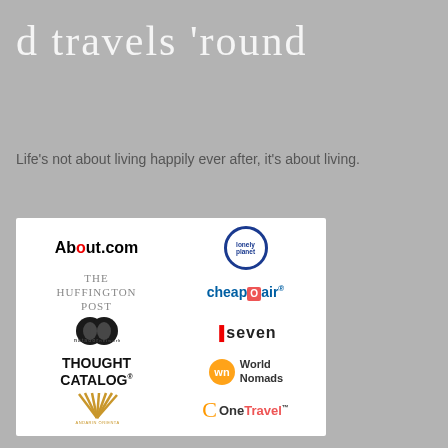d travels 'round
Life’s not about living happily ever after, it’s about living.
[Figure (logo): A grid of partner/media logos including About.com, Lonely Planet, The Huffington Post, CheapOair, Matador Network, Seven, Thought Catalog, World Nomads, Mandarin Oriental, and OneTravel on a white background.]